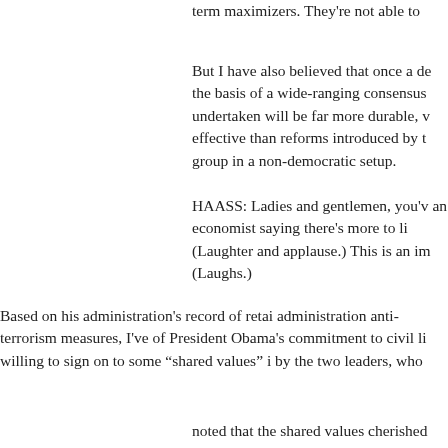term maximizers. They're not able to
But I have also believed that once a de the basis of a wide-ranging consensus undertaken will be far more durable, v effective than reforms introduced by t group in a non-democratic setup.
HAASS: Ladies and gentlemen, you'v an economist saying there's more to li (Laughter and applause.) This is an im (Laughs.)
Based on his administration's record of retai administration anti-terrorism measures, I've of President Obama's commitment to civil li willing to sign on to some “shared values” i by the two leaders, who
noted that the shared values cherished